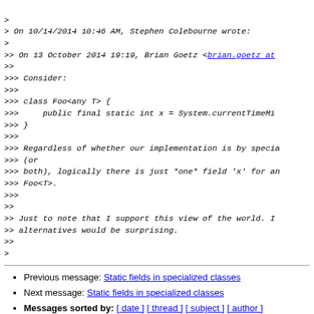> 
> On 10/14/2014 10:46 AM, Stephen Colebourne wrote:
>
>> On 13 October 2014 19:19, Brian Goetz <brian.goetz at
>>
>>> Consider:
>>>
>>> class Foo<any T> {
>>>     public final static int x = System.currentTimeMi
>>> }
>>>
>>> Regardless of whether our implementation is by specia
>>> (or
>>> both), logically there is just *one* field 'x' for an
>>> Foo<T>.
>>>
>>
>> Just to note that I support this view of the world. I
>> alternatives would be surprising.
>>
>
Previous message: Static fields in specialized classes
Next message: Static fields in specialized classes
Messages sorted by: [ date ] [ thread ] [ subject ] [ author ]
More information about the valhalla-dev mailing list